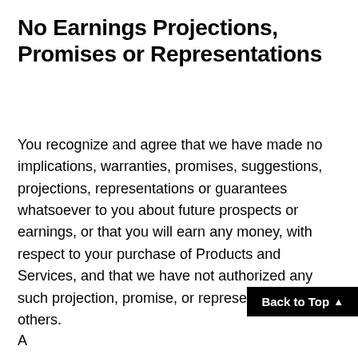No Earnings Projections, Promises or Representations
You recognize and agree that we have made no implications, warranties, promises, suggestions, projections, representations or guarantees whatsoever to you about future prospects or earnings, or that you will earn any money, with respect to your purchase of Products and Services, and that we have not authorized any such projection, promise, or representation by others.